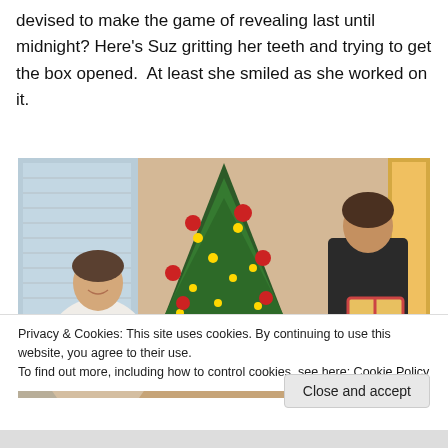devised to make the game of revealing last until midnight? Here’s Suz gritting her teeth and trying to get the box opened.  At least she smiled as she worked on it.
[Figure (photo): Two women near a decorated Christmas tree with red poinsettias and ornaments. One woman sits on the left smiling in a white jacket, the other stands on the right in dark clothing opening or wrapping a gift.]
Privacy & Cookies: This site uses cookies. By continuing to use this website, you agree to their use.
To find out more, including how to control cookies, see here: Cookie Policy
Close and accept